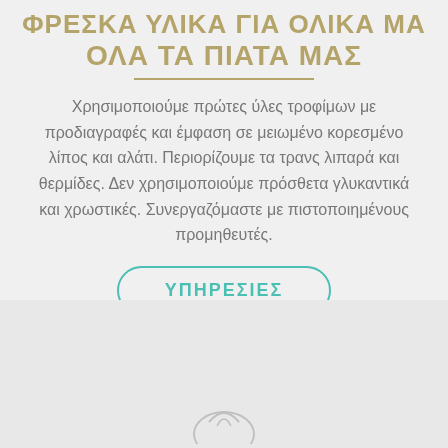ΟΛΑ ΤΑ ΠΙΑΤΑ ΜΑΣ
Χρησιμοποιούμε πρώτες ύλες τροφίμων με προδιαγραφές και έμφαση σε μειωμένο κορεσμένο λίπος και αλάτι. Περιορίζουμε τα τρανς λιπαρά και θερμίδες. Δεν χρησιμοποιούμε πρόσθετα γλυκαντικά και χρωστικές. Συνεργαζόμαστε με πιστοποιημένους προμηθευτές.
ΥΠΗΡΕΣΙΕΣ
2
[Figure (logo): Partial logo or brand mark visible at bottom center of page]